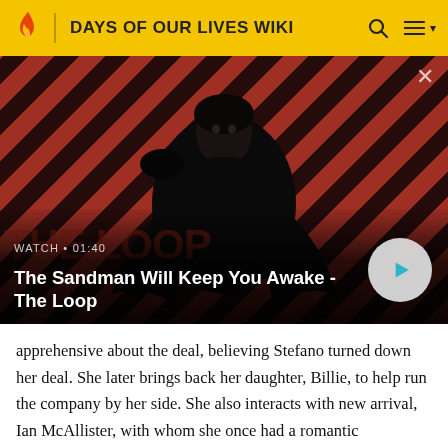DAYS OF OUR LIVES WIKI
[Figure (screenshot): Video thumbnail showing a dark figure (person in black with a raven on shoulder) against a red and dark diagonal striped background. Shows 'WATCH • 01:40' and title 'The Sandman Will Keep You Awake - The Loop' with a play button.]
apprehensive about the deal, believing Stefano turned down her deal. She later brings back her daughter, Billie, to help run the company by her side. She also interacts with new arrival, Ian McAllister, with whom she once had a romantic relationship in Paris. The two fall into bed in